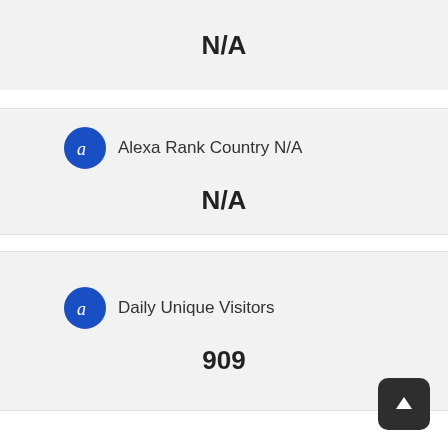N/A
Alexa Rank Country N/A
N/A
Daily Unique Visitors
909